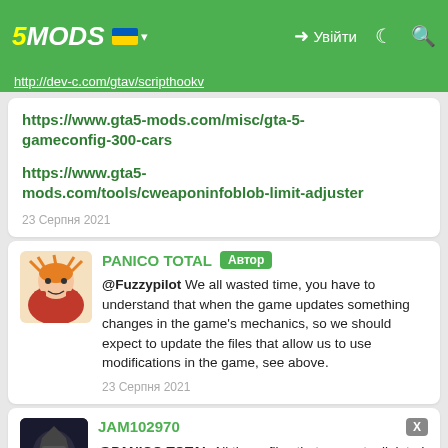5MODS — Увійти navigation bar
http://dev-c.com/gtav/scripthookv (partial URL)
https://www.gta5-mods.com/misc/gta-5-gameconfig-300-cars
https://www.gta5-mods.com/tools/cweaponinfoblob-limit-adjuster
23 Серпня 2021
PANICO TOTAL Автор
@Fuzzypilot We all wasted time, you have to understand that when the game updates something changes in the game's mechanics, so we should expect to update the files that allow us to use modifications in the game, see above.
23 Серпня 2021
JAM102970
@PANICO TOTAL All those files that you put a link to I already have. I already have the v2372 ScriptHookV